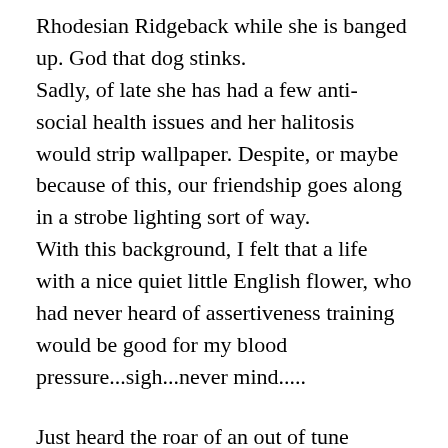Rhodesian Ridgeback while she is banged up. God that dog stinks. Sadly, of late she has had a few anti- social health issues and her halitosis would strip wallpaper. Despite, or maybe because of this, our friendship goes along in a strobe lighting sort of way. With this background, I felt that a life with a nice quiet little English flower, who had never heard of assertiveness training would be good for my blood pressure...sigh...never mind.....
Just heard the roar of an out of tune Harley- Davidson......or....oh no...!! Is it MAVIS? AAAAAGGGGHHHH!